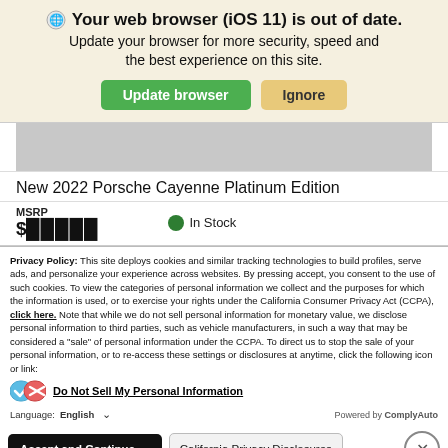Your web browser (iOS 11) is out of date.
Update your browser for more security, speed and the best experience on this site.
Update browser | Ignore
[Figure (screenshot): Partial screenshot of a car listing showing a gray image placeholder area]
New 2022 Porsche Cayenne Platinum Edition
MSRP  ● In Stock
Privacy Policy: This site deploys cookies and similar tracking technologies to build profiles, serve ads, and personalize your experience across websites. By pressing accept, you consent to the use of such cookies. To view the categories of personal information we collect and the purposes for which the information is used, or to exercise your rights under the California Consumer Privacy Act (CCPA), click here. Note that while we do not sell personal information for monetary value, we disclose personal information to third parties, such as vehicle manufacturers, in such a way that may be considered a "sale" of personal information under the CCPA. To direct us to stop the sale of your personal information, or to re-access these settings or disclosures at anytime, click the following icon or link:
Do Not Sell My Personal Information
Language: English  ∨  Powered by ComplyAuto
Accept and Continue →  California Privacy Disclosures